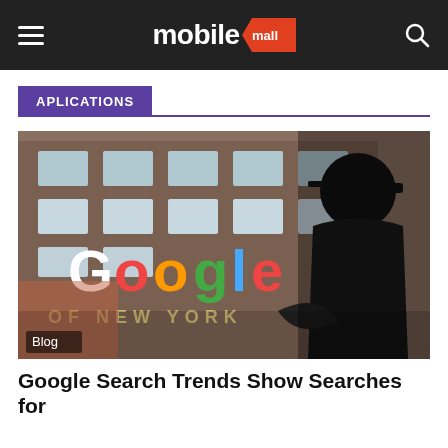mobile mall
APLICATIONS
[Figure (photo): Silhouette of a person in front of a building with a large Google logo (rainbow colored letters) and text 'OF NEW YORK' below it. A 'Blog' label appears in the bottom left corner of the image.]
Google Search Trends Show Searches for